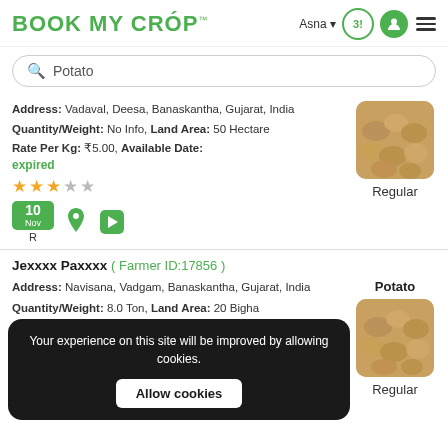BOOK MY CROP
Potato (search query)
Address: Vadaval, Deesa, Banaskantha, Gujarat, India
Quantity/Weight: No Info, Land Area: 50 Hectare
Rate Per Kg: ₹5.00, Available Date:
expired
[Figure (photo): Close-up photo of potatoes]
Regular
10 Nov, R
Jexxxx Paxxxx ( Farmer ID:17856 )
Address: Navisana, Vadgam, Banaskantha, Gujarat, India
Quantity/Weight: 8.0 Ton, Land Area: 20 Bigha
Rate Per Kg: N/A, Available Date:
[Figure (photo): Close-up photo of potatoes]
Regular
23 Nov
Your experience on this site will be improved by allowing cookies. Allow cookies